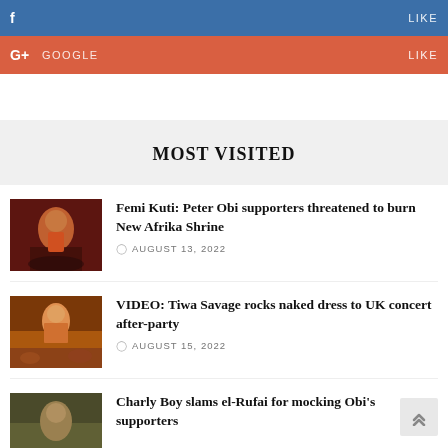[Figure (screenshot): Blue social share bar with Twitter icon and LIKE action]
[Figure (screenshot): Red/orange social share bar with Google+ icon and LIKE action]
MOST VISITED
[Figure (photo): Femi Kuti performing on stage in colorful outfit]
Femi Kuti: Peter Obi supporters threatened to burn New Afrika Shrine
AUGUST 13, 2022
[Figure (photo): Tiwa Savage performing on stage in front of crowd]
VIDEO: Tiwa Savage rocks naked dress to UK concert after-party
AUGUST 15, 2022
[Figure (photo): Charly Boy partial thumbnail]
Charly Boy slams el-Rufai for mocking Obi's supporters